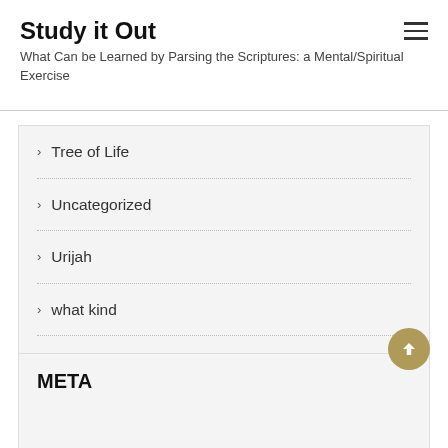Study it Out
What Can be Learned by Parsing the Scriptures: a Mental/Spiritual Exercise
Tree of Life
Uncategorized
Urijah
what kind
witness of spirit
META